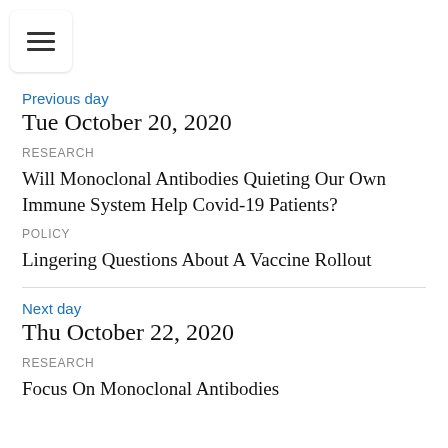Previous day
Tue October 20, 2020
RESEARCH
Will Monoclonal Antibodies Quieting Our Own Immune System Help Covid-19 Patients?
POLICY
Lingering Questions About A Vaccine Rollout
Next day
Thu October 22, 2020
RESEARCH
Focus On Monoclonal Antibodies